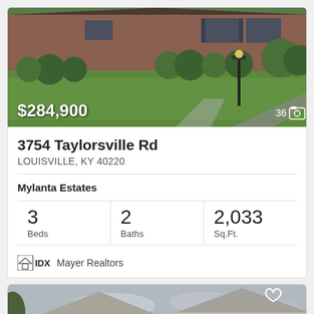[Figure (photo): Exterior photo of brick house with green lawn, trimmed bushes, lamppost, and driveway. Price overlay $284,900 at bottom left, photo count 36 with camera icon at bottom right.]
3754 Taylorsville Rd
LOUISVILLE, KY 40220
Mylanta Estates
| Beds | Baths | Sq.Ft. |
| --- | --- | --- |
| 3 | 2 | 2,033 |
IDX Mayer Realtors
[Figure (photo): Exterior photo of gray/beige two-story house with garage, cloudy sky background. Heart icon at top right, accessibility icon badge at bottom left.]